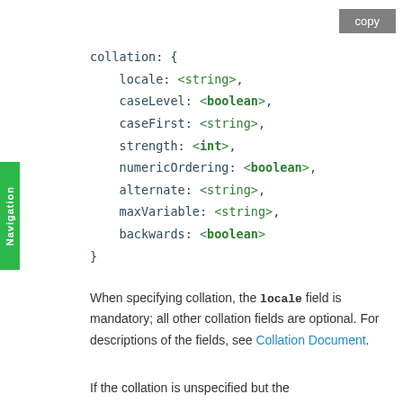copy
collation: {
    locale: <string>,
    caseLevel: <boolean>,
    caseFirst: <string>,
    strength: <int>,
    numericOrdering: <boolean>,
    alternate: <string>,
    maxVariable: <string>,
    backwards: <boolean>
}
When specifying collation, the locale field is mandatory; all other collation fields are optional. For descriptions of the fields, see Collation Document.
If the collation is unspecified but the